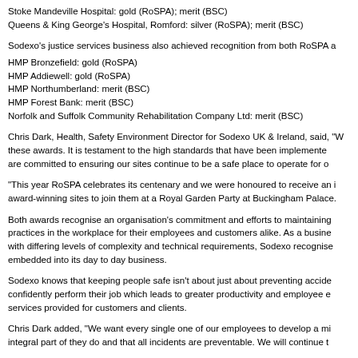Stoke Mandeville Hospital: gold (RoSPA); merit (BSC)
Queens & King George's Hospital, Romford: silver (RoSPA); merit (BSC)
Sodexo's justice services business also achieved recognition from both RoSPA and BSC:
HMP Bronzefield: gold (RoSPA)
HMP Addiewell: gold (RoSPA)
HMP Northumberland: merit (BSC)
HMP Forest Bank: merit (BSC)
Norfolk and Suffolk Community Rehabilitation Company Ltd: merit (BSC)
Chris Dark, Health, Safety Environment Director for Sodexo UK & Ireland, said, "We are delighted to receive these awards. It is testament to the high standards that have been implemented across our teams and we are committed to ensuring our sites continue to be a safe place to operate for our employees.
"This year RoSPA celebrates its centenary and we were honoured to receive an invitation for some of our award-winning sites to join them at a Royal Garden Party at Buckingham Palace.
Both awards recognise an organisation's commitment and efforts to maintaining best health and safety practices in the workplace for their employees and customers alike. As a business that operates many sites with differing levels of complexity and technical requirements, Sodexo recognises the importance of this being embedded into its day to day business.
Sodexo knows that keeping people safe isn't about just about preventing accidents, but enabling people to confidently perform their job which leads to greater productivity and employee engagement and better services provided for customers and clients.
Chris Dark added, "We want every single one of our employees to develop a mindset where safety is an integral part of they do and that all incidents are preventable. We will continue t